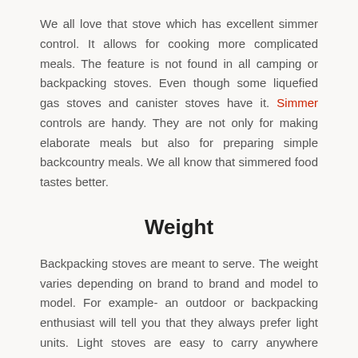We all love that stove which has excellent simmer control. It allows for cooking more complicated meals. The feature is not found in all camping or backpacking stoves. Even though some liquefied gas stoves and canister stoves have it. Simmer controls are handy. They are not only for making elaborate meals but also for preparing simple backcountry meals. We all know that simmered food tastes better.
Weight
Backpacking stoves are meant to serve. The weight varies depending on brand to brand and model to model. For example- an outdoor or backpacking enthusiast will tell you that they always prefer light units. Light stoves are easy to carry anywhere whether hiking fishing